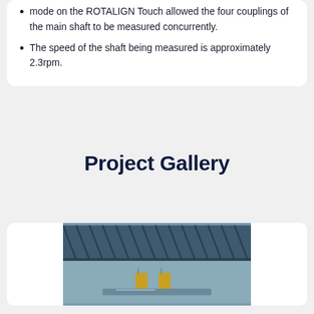mode on the ROTALIGN Touch allowed the four couplings of the main shaft to be measured concurrently.
The speed of the shaft being measured is approximately 2.3rpm.
Project Gallery
[Figure (photo): Photo of industrial equipment (alignment sensors/tools) mounted on a large shaft or coupling, viewed from below with structural beams visible in the background.]